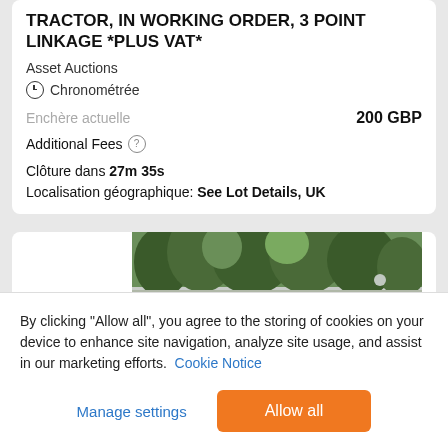TRACTOR, IN WORKING ORDER, 3 POINT LINKAGE *PLUS VAT*
Asset Auctions
Chronométrée
Enchère actuelle   200 GBP
Additional Fees ?
Clôture dans 27m 35s
Localisation géographique: See Lot Details, UK
[Figure (photo): Partial view of trees/landscape photo from auction listing]
By clicking "Allow all", you agree to the storing of cookies on your device to enhance site navigation, analyze site usage, and assist in our marketing efforts. Cookie Notice
Manage settings   Allow all